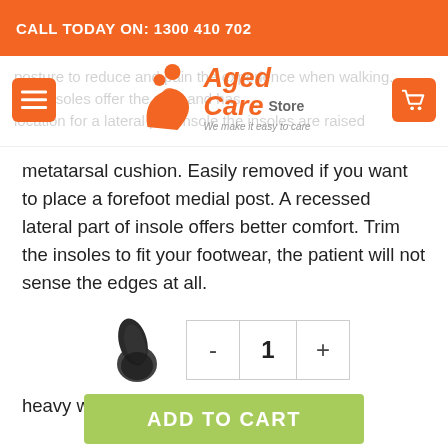CALL TODAY ON: 1300 410 702
[Figure (logo): Aged Care Store logo with orange figure icon and tagline 'We make it easy to care']
posture to reduce and pain the experience when walking. The insoles offer the right and has location for a lateral part insole the insoles are raised metatarsal cushion. Easily removed if you want to place a forefoot medial post. A recessed lateral part of insole offers better comfort. Trim the insoles to fit your footwear, the patient will not sense the edges at all.
Moreover, there is an additional space for a medial biplanar heel post. The firm density full-length insoles are ideal for a patient who has a heavy weight and involved in a lot
[Figure (photo): Black orthotic insole shoe insert viewed from above]
- 1 +
ADD TO CART